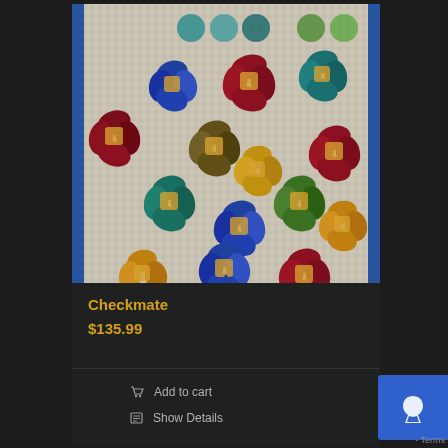[Figure (photo): A colorful quilt product photo showing a checkmate pattern quilt with 3D-effect flower/clover motifs in various colors (blue, red, green, teal, yellow) on a beige/cream background with a blue border]
Checkmate
$135.99
Add to cart
Show Details
- Terms